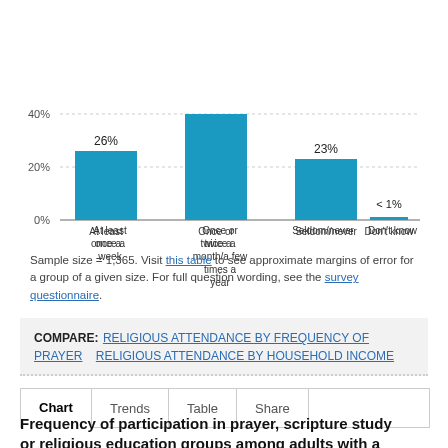[Figure (bar-chart): Religious attendance frequency]
Sample size = 1,365. Visit this table to see approximate margins of error for a group of a given size. For full question wording, see the survey questionnaire.
COMPARE: RELIGIOUS ATTENDANCE BY FREQUENCY OF PRAYER   RELIGIOUS ATTENDANCE BY HOUSEHOLD INCOME
Chart   Trends   Table   Share
Frequency of participation in prayer, scripture study or religious education groups among adults with a